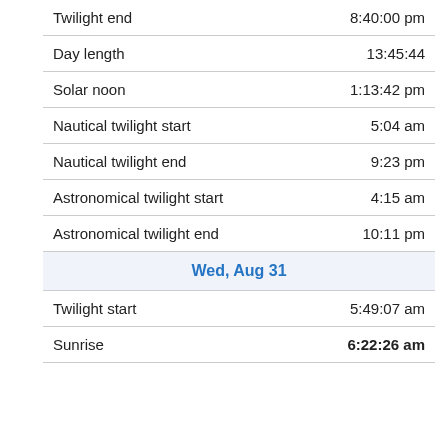| Event | Time |
| --- | --- |
| Twilight end | 8:40:00 pm |
| Day length | 13:45:44 |
| Solar noon | 1:13:42 pm |
| Nautical twilight start | 5:04 am |
| Nautical twilight end | 9:23 pm |
| Astronomical twilight start | 4:15 am |
| Astronomical twilight end | 10:11 pm |
| Wed, Aug 31 |  |
| Twilight start | 5:49:07 am |
| Sunrise | 6:22:26 am |